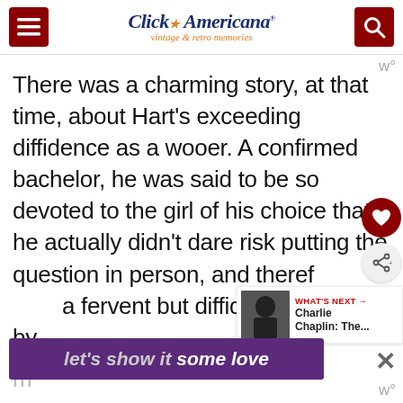Click Americana — vintage & retro memories
There was a charming story, at that time, about Hart's exceeding diffidence as a wooer. A confirmed bachelor, he was said to be so devoted to the girl of his choice that he actually didn't dare risk putting the question in person, and theref[ore sent] a fervent but diffident proposal by m[ail]
[Figure (screenshot): What's Next panel showing Charlie Chaplin thumbnail with red arrow label]
[Figure (screenshot): Bottom ad banner reading 'let's show it some love' in purple]